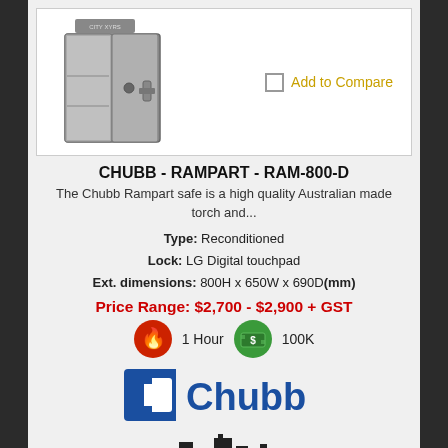[Figure (photo): Gray Chubb Rampart safe with open door showing interior shelving, with City Xyrs branding on top]
Add to Compare
CHUBB - RAMPART - RAM-800-D
The Chubb Rampart safe is a high quality Australian made torch and...
Type: Reconditioned
Lock: LG Digital touchpad
Ext. dimensions: 800H x 650W x 690D(mm)
Price Range: $2,700 - $2,900 + GST
[Figure (infographic): Fire rating icon (red circle with flame) labeled 1 Hour and cash rating icon (green circle with banknote) labeled 100K]
[Figure (logo): Chubb logo - blue square C shape with Chubb text in blue]
[Figure (logo): City skyline silhouette logo at bottom]